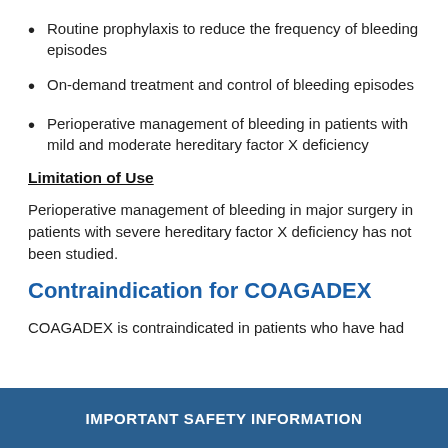Routine prophylaxis to reduce the frequency of bleeding episodes
On-demand treatment and control of bleeding episodes
Perioperative management of bleeding in patients with mild and moderate hereditary factor X deficiency
Limitation of Use
Perioperative management of bleeding in major surgery in patients with severe hereditary factor X deficiency has not been studied.
Contraindication for COAGADEX
COAGADEX is contraindicated in patients who have had
IMPORTANT SAFETY INFORMATION